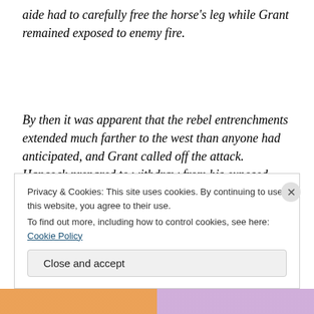aide had to carefully free the horse's leg while Grant remained exposed to enemy fire.
By then it was apparent that the rebel entrenchments extended much farther to the west than anyone had anticipated, and Grant called off the attack. Hancock prepared to withdraw from his exposed position the next morning. The Confederates, as they often did, had
Privacy & Cookies: This site uses cookies. By continuing to use this website, you agree to their use.
To find out more, including how to control cookies, see here: Cookie Policy